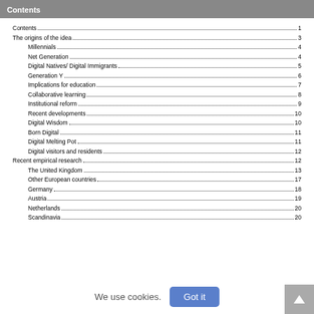Contents
Contents 1
The origins of the idea 3
Millennials 4
Net Generation 4
Digital Natives/ Digital Immigrants 5
Generation Y 6
Implications for education 7
Collaborative learning 8
Institutional reform 9
Recent developments 10
Digital Wisdom 10
Born Digital 11
Digital Melting Pot 11
Digital visitors and residents 12
Recent empirical research 12
The United Kingdom 13
Other European countries 17
Germany 18
Austria 19
Netherlands 20
Scandinavia 20